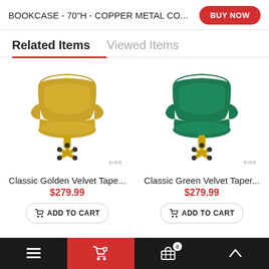BOOKCASE - 70"H - COPPER METAL CO...
Related Items | Viewed Items
[Figure (photo): Yellow/golden velvet office chair with gold base and casters, side view]
Classic Golden Velvet Tape...
$279.99
[Figure (photo): Green velvet office chair with gold base and casters, side view]
Classic Green Velvet Taper...
$279.99
Bottom navigation bar with menu, cart, basket (0), and up arrow icons